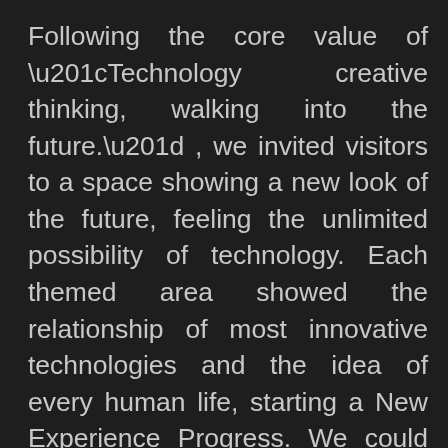Following the core value of “Technology creative thinking, walking into the future.” , we invited visitors to a space showing a new look of the future, feeling the unlimited possibility of technology. Each themed area showed the relationship of most innovative technologies and the idea of every human life, starting a New Experience Progress. We could feel the future technology potential by the real experience of every technology interface.